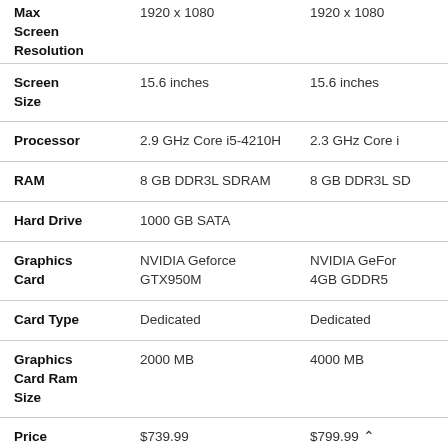| Attribute | Product 1 | Product 2 |
| --- | --- | --- |
| Max Screen Resolution | 1920 x 1080 | 1920 x 1080 |
| Screen Size | 15.6 inches | 15.6 inches |
| Processor | 2.9 GHz Core i5-4210H | 2.3 GHz Core i |
| RAM | 8 GB DDR3L SDRAM | 8 GB DDR3L SD |
| Hard Drive | 1000 GB SATA |  |
| Graphics Card | NVIDIA Geforce GTX950M | NVIDIA GeFor 4GB GDDR5 |
| Card Type | Dedicated | Dedicated |
| Graphics Card Ram Size | 2000 MB | 4000 MB |
| Price | $739.99 | $799.99 |